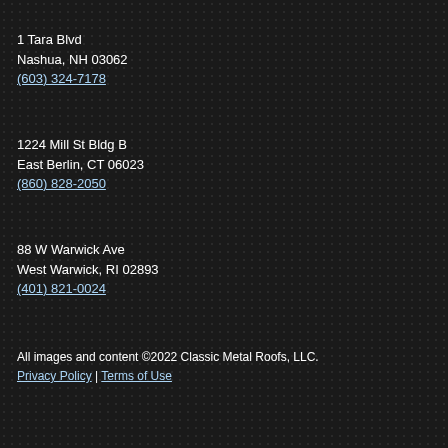1 Tara Blvd
Nashua, NH 03062
(603) 324-7178
1224 Mill St Bldg B
East Berlin, CT 06023
(860) 828-2050
88 W Warwick Ave
West Warwick, RI 02893
(401) 821-0024
All images and content ©2022 Classic Metal Roofs, LLC.
Privacy Policy | Terms of Use